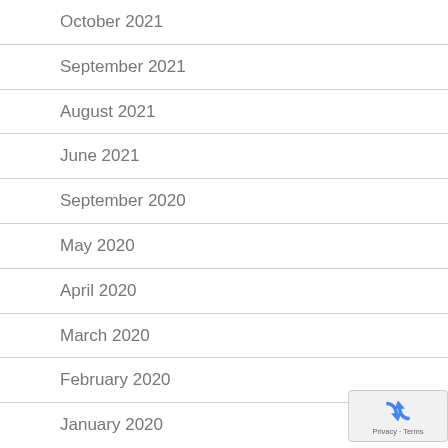October 2021
September 2021
August 2021
June 2021
September 2020
May 2020
April 2020
March 2020
February 2020
January 2020